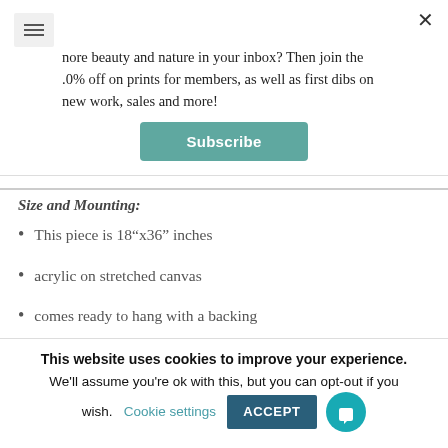more beauty and nature in your inbox? Then join the .0% off on prints for members, as well as first dibs on new work, sales and more!
Subscribe
Size and Mounting:
This piece is 18”x36” inches
acrylic on stretched canvas
comes ready to hang with a backing
signed and dated by artist
This website uses cookies to improve your experience. We'll assume you're ok with this, but you can opt-out if you wish.
Cookie settings
ACCEPT